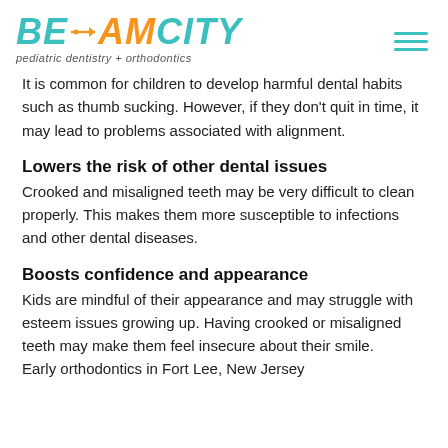BEAMCITY pediatric dentistry + orthodontics
It is common for children to develop harmful dental habits such as thumb sucking. However, if they don't quit in time, it may lead to problems associated with alignment.
Lowers the risk of other dental issues
Crooked and misaligned teeth may be very difficult to clean properly. This makes them more susceptible to infections and other dental diseases.
Boosts confidence and appearance
Kids are mindful of their appearance and may struggle with esteem issues growing up. Having crooked or misaligned teeth may make them feel insecure about their smile. Early orthodontics in Fort Lee, New Jersey